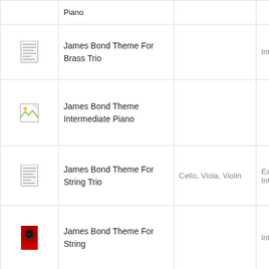| Icon | Title | Instrument | Level |
| --- | --- | --- | --- |
| [icon] | Piano |  |  |
| [sheet icon] | James Bond Theme For Brass Trio |  | Intermediate |
| [broken image icon] | James Bond Theme Intermediate Piano |  |  |
| [sheet icon] | James Bond Theme For String Trio | Cello, Viola, Violin | Early Intermediate |
| [book icon] | James Bond Theme For String |  | Intermediate |